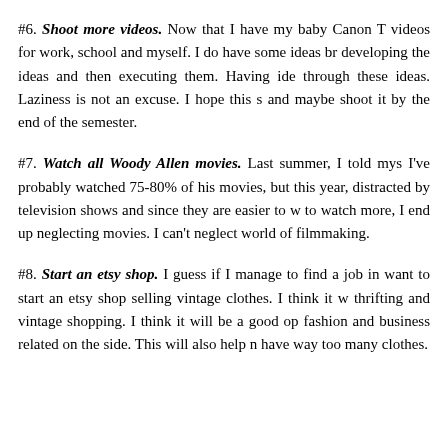#6. Shoot more videos. Now that I have my baby Canon T videos for work, school and myself. I do have some ideas br developing the ideas and then executing them. Having ide through these ideas. Laziness is not an excuse. I hope this s and maybe shoot it by the end of the semester.
#7. Watch all Woody Allen movies. Last summer, I told mys I've probably watched 75-80% of his movies, but this year, distracted by television shows and since they are easier to w to watch more, I end up neglecting movies. I can't neglect world of filmmaking.
#8. Start an etsy shop. I guess if I manage to find a job in want to start an etsy shop selling vintage clothes. I think it w thrifting and vintage shopping. I think it will be a good op fashion and business related on the side. This will also help n have way too many clothes.